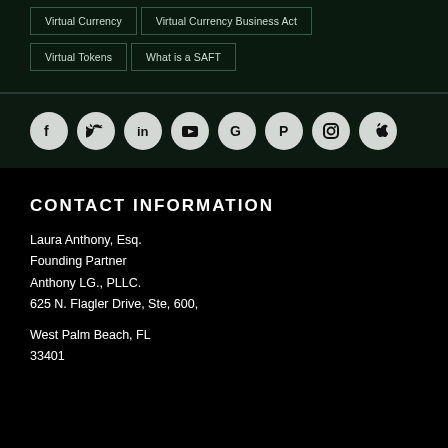Virtual Currency
Virtual Currency Business Act
Virtual Tokens
What is a SAFT
[Figure (other): Row of 8 social media icon circles: Facebook, Twitter, LinkedIn, YouTube, Google, Pinterest, Instagram, Apple]
CONTACT INFORMATION
Laura Anthony, Esq.
Founding Partner
Anthony LG., PLLC.
625 N. Flagler Drive, Ste, 600,

West Palm Beach, FL
33401